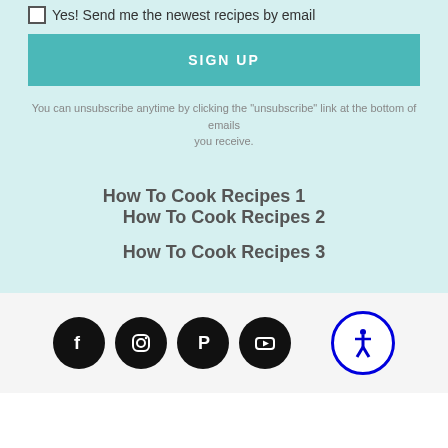Yes! Send me the newest recipes by email
SIGN UP
You can unsubscribe anytime by clicking the "unsubscribe" link at the bottom of emails you receive.
How To Cook Recipes 1
How To Cook Recipes 2
How To Cook Recipes 3
[Figure (other): Social media icons (Facebook, Instagram, Pinterest, YouTube) in black circles, and an accessibility icon in a blue circle]